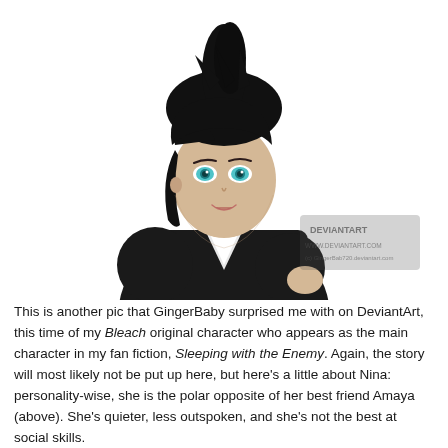[Figure (illustration): Anime-style illustration of a female character with black hair pulled up in a ponytail with loose bangs, blue eyes, pale skin, wearing a black kimono/uniform with white collar. DeviantArt watermark visible. Character is from the Bleach fan fiction 'Sleeping with the Enemy'.]
This is another pic that GingerBaby surprised me with on DeviantArt, this time of my Bleach original character who appears as the main character in my fan fiction, Sleeping with the Enemy. Again, the story will most likely not be put up here, but here's a little about Nina: personality-wise, she is the polar opposite of her best friend Amaya (above). She's quieter, less outspoken, and she's not the best at social skills.